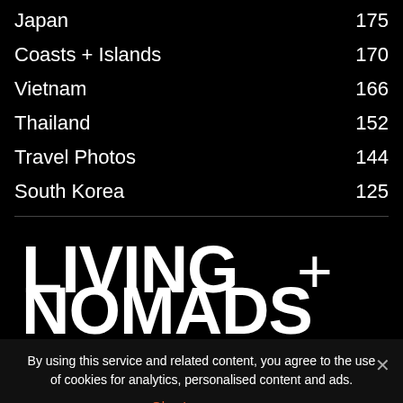Japan 175
Coasts + Islands 170
Vietnam 166
Thailand 152
Travel Photos 144
South Korea 125
[Figure (logo): Living + Nomads logo in large bold white uppercase text on black background]
By using this service and related content, you agree to the use of cookies for analytics, personalised content and ads.
Ok  Learn more